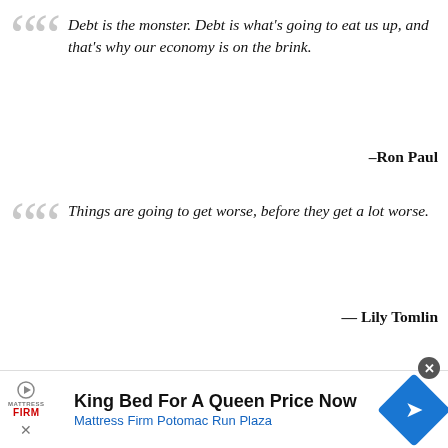Debt is the monster. Debt is what's going to eat us up, and that's why our economy is on the brink.
–Ron Paul
Things are going to get worse, before they get a lot worse.
— Lily Tomlin
King Bed For A Queen Price Now
Mattress Firm Potomac Run Plaza